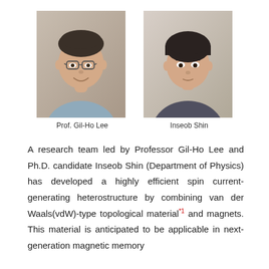[Figure (photo): Headshot photo of Prof. Gil-Ho Lee, a middle-aged Asian man with glasses, smiling, wearing a light blue shirt]
Prof. Gil-Ho Lee
[Figure (photo): Headshot photo of Inseob Shin, a young Asian man with short dark hair, wearing a dark hoodie]
Inseob Shin
A research team led by Professor Gil-Ho Lee and Ph.D. candidate Inseob Shin (Department of Physics) has developed a highly efficient spin current-generating heterostructure by combining van der Waals(vdW)-type topological material*1 and magnets. This material is anticipated to be applicable in next-generation magnetic memory